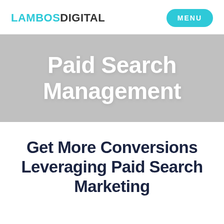LAMBOS DIGITAL   MENU
Paid Search Management
Get More Conversions Leveraging Paid Search Marketing